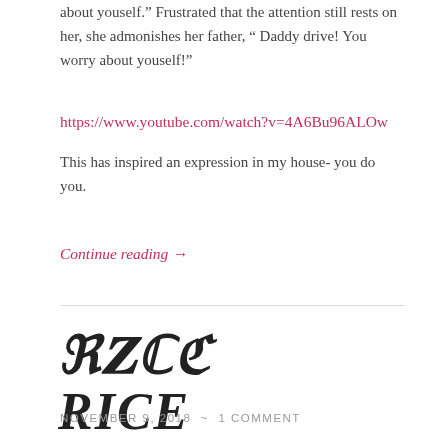about youself." Frustrated that the attention still rests on her, she admonishes her father, " Daddy drive! You worry about youself!"
https://www.youtube.com/watch?v=4A6Bu96ALOw
This has inspired an expression in my house- you do you.
Continue reading →
RICE
NOVEMBER 9, 2018  ~  1 COMMENT